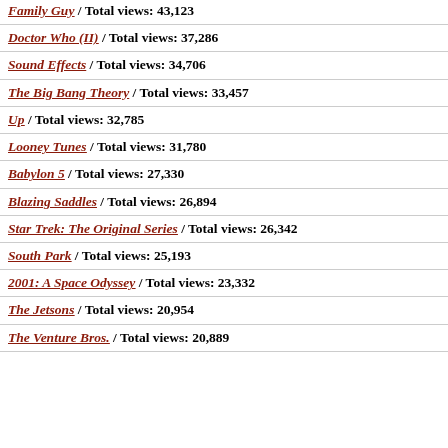Family Guy / Total views: 43,123
Doctor Who (II) / Total views: 37,286
Sound Effects / Total views: 34,706
The Big Bang Theory / Total views: 33,457
Up / Total views: 32,785
Looney Tunes / Total views: 31,780
Babylon 5 / Total views: 27,330
Blazing Saddles / Total views: 26,894
Star Trek: The Original Series / Total views: 26,342
South Park / Total views: 25,193
2001: A Space Odyssey / Total views: 23,332
The Jetsons / Total views: 20,954
The Venture Bros. / Total views: 20,889